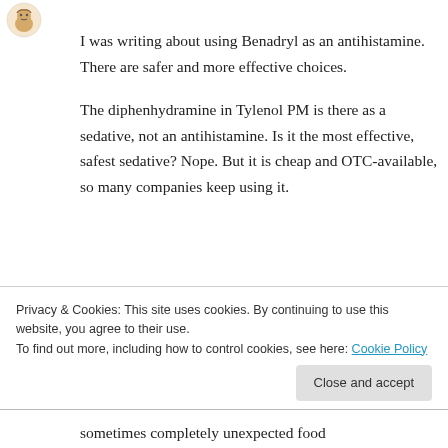[Figure (illustration): Small cartoon avatar icon in top-left corner]
I was writing about using Benadryl as an antihistamine. There are safer and more effective choices.

The diphenhydramine in Tylenol PM is there as a sedative, not an antihistamine. Is it the most effective, safest sedative? Nope. But it is cheap and OTC-available, so many companies keep using it.
★ Liked by 1 person
Privacy & Cookies: This site uses cookies. By continuing to use this website, you agree to their use.
To find out more, including how to control cookies, see here: Cookie Policy
sometimes completely unexpected food